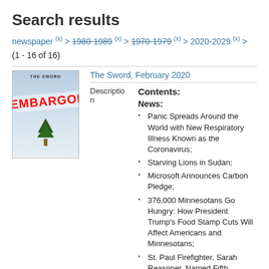Search results
newspaper (x) > 1980-1989 (x) > 1970-1979 (x) > 2020-2029 (x) >
(1 - 16 of 16)
The Sword, February 2020
Description
Contents:
News:
Panic Spreads Around the World with New Respiratory Illness Known as the Coronavirus;
Starving Lions in Sudan;
Microsoft Announces Carbon Pledge;
376,000 Minnesotans Go Hungry: How President Trump's Food Stamp Cuts Will Affect Americans and Minnesotans;
St. Paul Firefighter, Sarah Reasoner, Named Fifth Strongest in the Nation;
US Navy Aircraft Carrier Named After